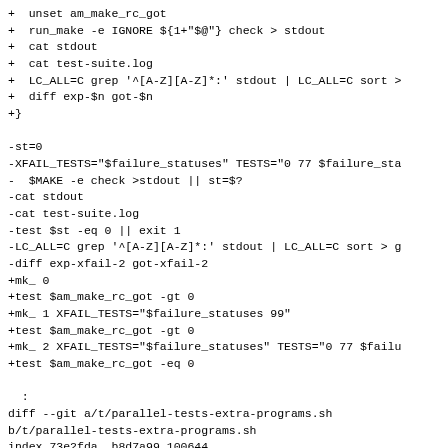+  unset am_make_rc_got
+  run_make -e IGNORE ${1+"$@"} check > stdout
+  cat stdout
+  cat test-suite.log
+  LC_ALL=C grep '^[A-Z][A-Z]*:' stdout | LC_ALL=C sort >
+  diff exp-$n got-$n
+}

-st=0
-XFAIL_TESTS="$failure_statuses" TESTS="0 77 $failure_sta
-  $MAKE -e check >stdout || st=$?
-cat stdout
-cat test-suite.log
-test $st -eq 0 || exit 1
-LC_ALL=C grep '^[A-Z][A-Z]*:' stdout | LC_ALL=C sort > g
-diff exp-xfail-2 got-xfail-2
+mk_ 0
+test $am_make_rc_got -gt 0
+mk_ 1 XFAIL_TESTS="$failure_statuses 99"
+test $am_make_rc_got -gt 0
+mk_ 2 XFAIL_TESTS="$failure_statuses" TESTS="0 77 $failu
+test $am_make_rc_got -eq 0

  :
diff --git a/t/parallel-tests-extra-programs.sh
b/t/parallel-tests-extra-programs.sh
index 73e2fda..b8d7a99 100644
--- a/t/parallel-tests-extra-programs.sh
+++ b/t/parallel-tests-extra-programs.sh
@@ -158,11 +158,10 @@ $sleep